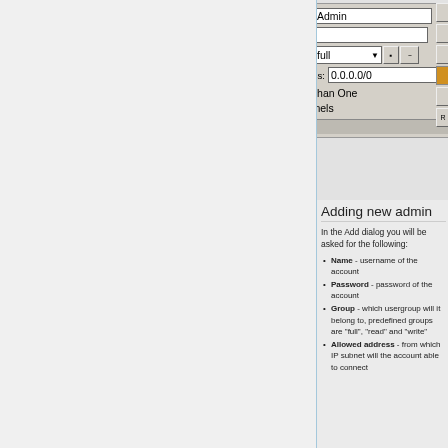[Figure (screenshot): Partial screenshot of an admin dialog box showing fields: Name (filled with 'Admin'), Password (empty), Group (dropdown set to 'full'), Allowed Address (0.0.0.0/0), checkboxes for 'Allow More Than One' and 'Separate Panels', both checked.]
Adding new admin
In the Add dialog you will be asked for the following:
Name - username of the account
Password - password of the account
Group - which usergroup will it belong to, predefined groups are "full", "read" and "write"
Allowed address - from which IP subnet will the account able to connect